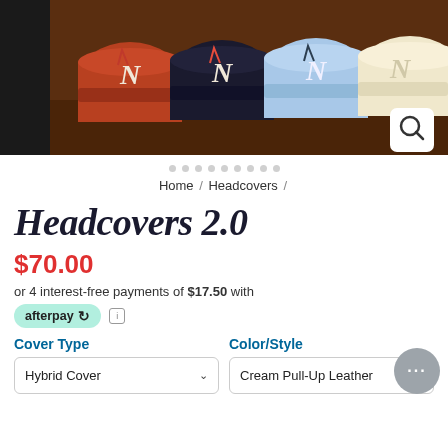[Figure (photo): Product photo showing multiple baseball caps lined up on a wooden surface. Caps in rust/red, dark navy, light blue, and cream/white colors, each with a stylized N logo. Search icon button in bottom right corner.]
Home / Headcovers /
Headcovers 2.0
$70.00
or 4 interest-free payments of $17.50 with afterpay
Cover Type
Color/Style
Hybrid Cover
Cream Pull-Up Leather